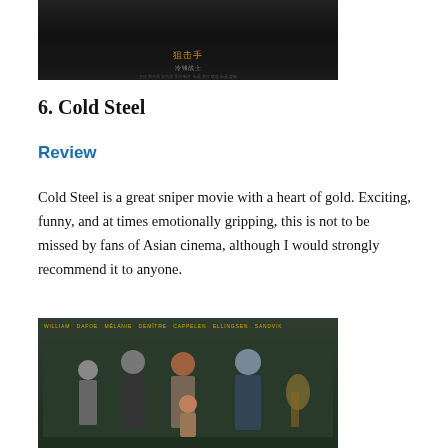[Figure (photo): Movie poster or promotional image with dark background, Chinese text, and credits at bottom]
6. Cold Steel
Review
Cold Steel is a great sniper movie with a heart of gold. Exciting, funny, and at times emotionally gripping, this is not to be missed by fans of Asian cinema, although I would strongly recommend it to anyone.
[Figure (photo): Movie poster showing a group of people (cast) standing together against a green/teal wallpaper background, with actor names in yellow text at the top]